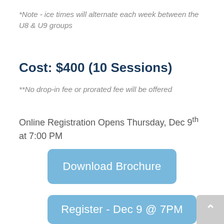*Note - ice times will alternate each week between the U8 & U9 groups
Cost: $400 (10 Sessions)
**No drop-in fee or prorated fee will be offered
Online Registration Opens Thursday, Dec 9th at 7:00 PM
Download Brochure
Register - Dec 9 @ 7PM